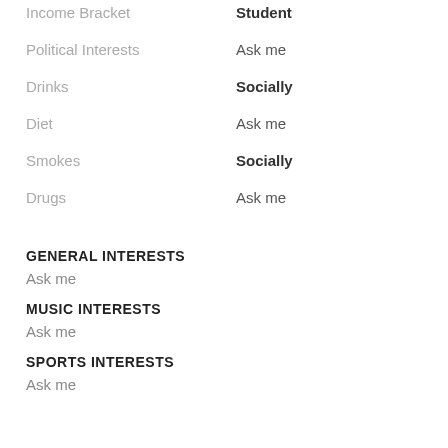Income Bracket: Student
Political Interests: Ask me
Drinks: Socially
Diet: Ask me
Smokes: Socially
Drugs: Ask me
GENERAL INTERESTS
Ask me
MUSIC INTERESTS
Ask me
SPORTS INTERESTS
Ask me